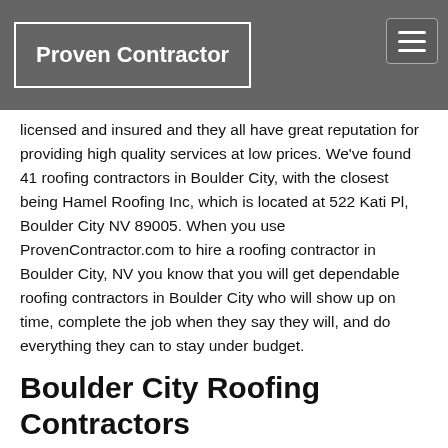Proven Contractor
licensed and insured and they all have great reputation for providing high quality services at low prices. We've found 41 roofing contractors in Boulder City, with the closest being Hamel Roofing Inc, which is located at 522 Kati Pl, Boulder City NV 89005. When you use ProvenContractor.com to hire a roofing contractor in Boulder City, NV you know that you will get dependable roofing contractors in Boulder City who will show up on time, complete the job when they say they will, and do everything they can to stay under budget.
Boulder City Roofing Contractors
Hiring dependable, local roofing contractors in Boulder City used to seem impossible, but with ProvenContractor.com it's straightforward and easy. All of the pre-screened roofing contractors in Boulder City listed above are experts in all types of roofing projects, including:
Roof Installation in Boulder City, Nevada
Roof Repair in Boulder City, NV
Roof Leak Detection in Boulder City, NV